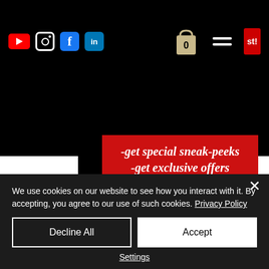Social media icons (YouTube, Instagram, Facebook, LinkedIn), shopping cart with 0, hamburger menu, red badge with 'st!'
-get special sneak-peeks -get exclusive offers (music, tickets, etc.) -and more!
Enter your email here *
We use cookies on our website to see how you interact with it. By accepting, you agree to our use of such cookies. Privacy Policy
Decline All
Accept
Settings